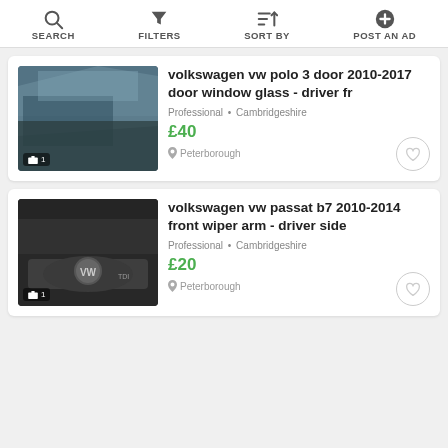SEARCH | FILTERS | SORT BY | POST AN AD
[Figure (screenshot): Photo of Volkswagen VW Polo door window glass with camera and count overlay showing '1']
volkswagen vw polo 3 door 2010-2017 door window glass - driver fr
Professional • Cambridgeshire
£40
Peterborough
[Figure (screenshot): Photo of Volkswagen VW Passat engine bay showing wiper arm area with VW TDI badge, photo count overlay showing '1']
volkswagen vw passat b7 2010-2014 front wiper arm - driver side
Professional • Cambridgeshire
£20
Peterborough